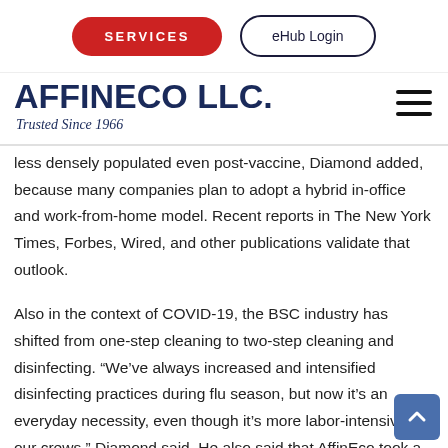SERVICES | eHub Login
AFFINECO LLC.
Trusted Since 1966
less densely populated even post-vaccine, Diamond added, because many companies plan to adopt a hybrid in-office and work-from-home model. Recent reports in The New York Times, Forbes, Wired, and other publications validate that outlook.
Also in the context of COVID-19, the BSC industry has shifted from one-step cleaning to two-step cleaning and disinfecting. “We’ve always increased and intensified disinfecting practices during flu season, but now it’s an everyday necessity, even though it’s more labor-intensive for our crews,” Diamond said. He also said that AffinEco took a hard look at typical